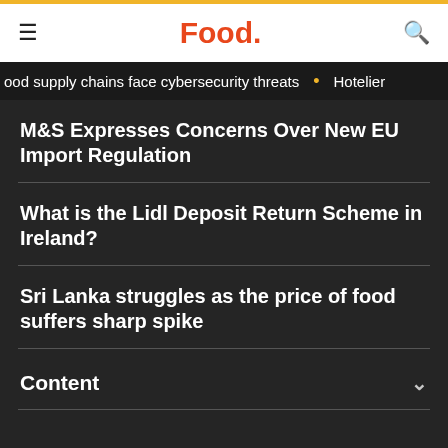Food.
ood supply chains face cybersecurity threats • Hotelier
M&S Expresses Concerns Over New EU Import Regulation
What is the Lidl Deposit Return Scheme in Ireland?
Sri Lanka struggles as the price of food suffers sharp spike
Content